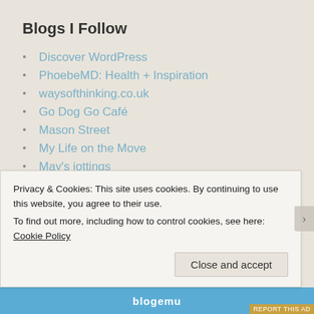Blogs I Follow
Discover WordPress
PhoebeMD: Health + Inspiration
waysofthinking.co.uk
Go Dog Go Café
Mason Street
My Life on the Move
May's jottings
Sammi Cox
Her Writing Haven
Putting My Feet in the Dirt
Dreams from a Pilgrimage
Bill Chance
Privacy & Cookies: This site uses cookies. By continuing to use this website, you agree to their use. To find out more, including how to control cookies, see here: Cookie Policy
Close and accept